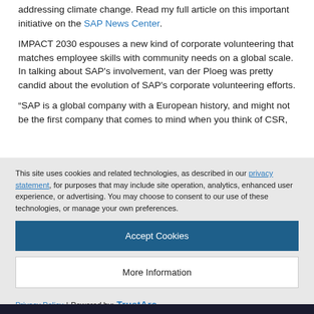addressing climate change. Read my full article on this important initiative on the SAP News Center.
IMPACT 2030 espouses a new kind of corporate volunteering that matches employee skills with community needs on a global scale. In talking about SAP's involvement, van der Ploeg was pretty candid about the evolution of SAP's corporate volunteering efforts.
“SAP is a global company with a European history, and might not be the first company that comes to mind when you think of CSR,
This site uses cookies and related technologies, as described in our privacy statement, for purposes that may include site operation, analytics, enhanced user experience, or advertising. You may choose to consent to our use of these technologies, or manage your own preferences.
Accept Cookies
More Information
Privacy Policy | Powered by: TrustArc